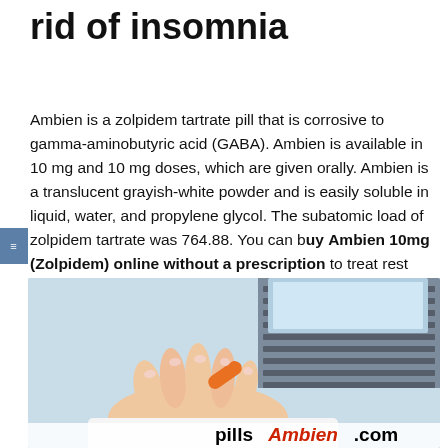rid of insomnia
Ambien is a zolpidem tartrate pill that is corrosive to gamma-aminobutyric acid (GABA). Ambien is available in 10 mg and 10 mg doses, which are given orally. Ambien is a translucent grayish-white powder and is easily soluble in liquid, water, and propylene glycol. The subatomic load of zolpidem tartrate was 764.88. You can buy Ambien 10mg (Zolpidem) online without a prescription to treat rest problems.
[Figure (photo): Photo of a person's hand holding an orange pill/capsule, with a laptop keyboard visible in the background. Watermark text 'pillsAmbien.com' at the bottom of the image.]